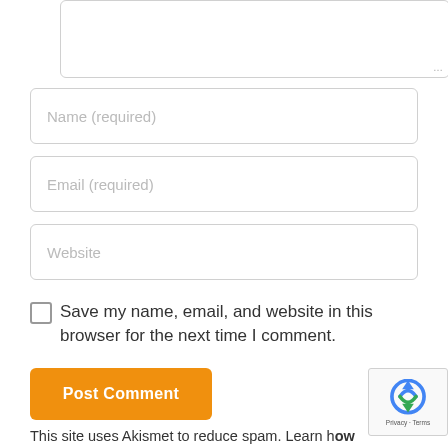[Figure (screenshot): Textarea input field (top portion visible, cut off at top of page), with resize handle at bottom-right corner]
Name (required)
Email (required)
Website
Save my name, email, and website in this browser for the next time I comment.
Post Comment
This site uses Akismet to reduce spam. Learn how